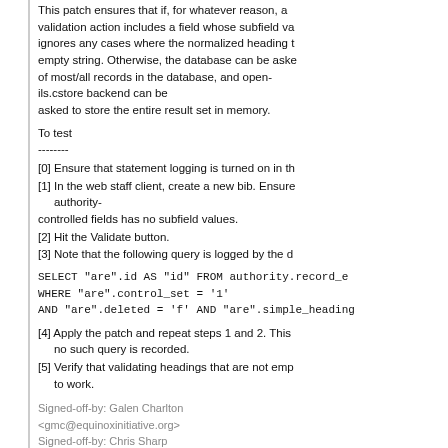This patch ensures that if, for whatever reason, a validation action includes a field whose subfield va ignores any cases where the normalized heading t empty string. Otherwise, the database can be aske of most/all records in the database, and open-ils.cstore backend can be asked to store the entire result set in memory.
To test
-------
[0] Ensure that statement logging is turned on in th
[1] In the web staff client, create a new bib. Ensure authority-controlled fields has no subfield values.
[2] Hit the Validate button.
[3] Note that the following query is logged by the d
SELECT "are".id AS "id" FROM authority.record_e WHERE "are".control_set = '1' AND "are".deleted = 'f' AND "are".simple_heading
[4] Apply the patch and repeat steps 1 and 2. This no such query is recorded.
[5] Verify that validating headings that are not emp to work.
Signed-off-by: Galen Charlton <gmc@equinoxinitiative.org>
Signed-off-by: Chris Sharp